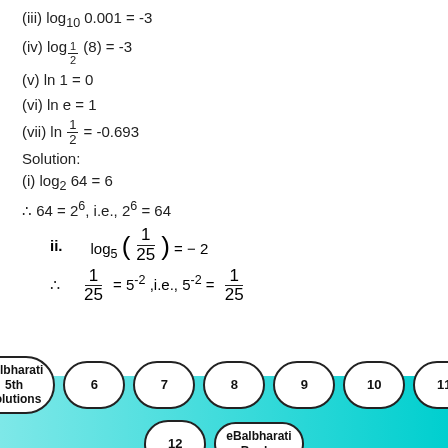(iii) log_10 0.001 = -3
(iv) log_(1/2) (8) = -3
(v) ln 1 = 0
(vi) ln e = 1
(vii) ln 1/2 = -0.693
Solution:
Balbharati 5th Solutions  6  7  8  9  10  11  12  eBalbharati Books